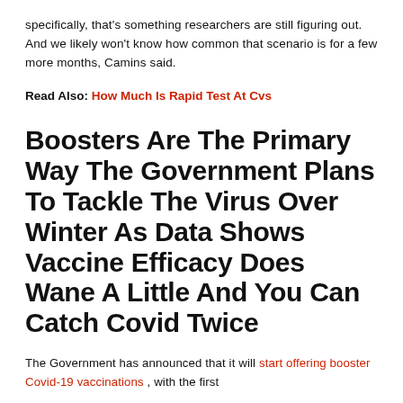specifically, that's something researchers are still figuring out. And we likely won't know how common that scenario is for a few more months, Camins said.
Read Also: How Much Is Rapid Test At Cvs
Boosters Are The Primary Way The Government Plans To Tackle The Virus Over Winter As Data Shows Vaccine Efficacy Does Wane A Little And You Can Catch Covid Twice
The Government has announced that it will start offering booster Covid-19 vaccinations , with the first